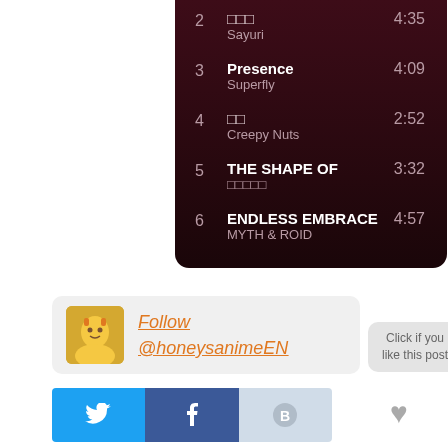[Figure (screenshot): Music playlist UI showing tracks 2-6 on dark maroon background. Track 2: (Japanese chars) by Sayuri, 4:35. Track 3: Presence by Superfly, 4:09. Track 4: (Japanese chars) by Creepy Nuts, 2:52. Track 5: THE SHAPE OF by (Japanese chars), 3:32. Track 6: ENDLESS EMBRACE by MYTH & ROID, 4:57. Right side has 'Click if you like this post' bubble and heart icon.]
Follow @honeysanimeEN
[Figure (screenshot): Social media share bar with Twitter, Facebook, and other buttons]